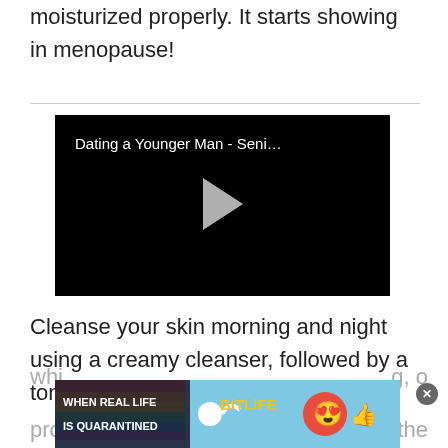moisturized properly. It starts showing in menopause!
[Figure (screenshot): Video player with black background showing title 'Dating a Younger Man - Seni...' with a play button in the center]
Cleanse your skin morning and night using a creamy cleanser, followed by a toner,
[Figure (infographic): BitLife advertisement banner with rainbow, text 'WHEN REAL LIFE IS QUARANTINED' and emoji characters]
whi... g, o... pro... the